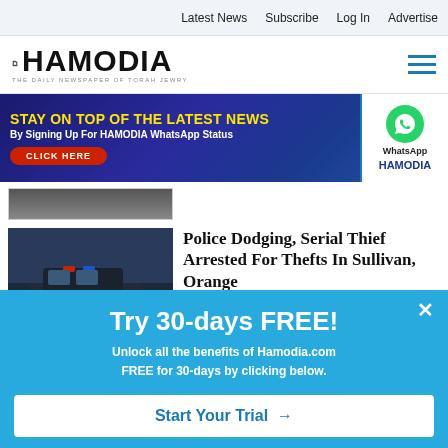Latest News   Subscribe   Log In   Advertise
[Figure (logo): Hamodia newspaper logo with Hebrew text and tagline 'THE DAILY NEWSPAPER OF TORAH JEWRY']
[Figure (infographic): Banner advertisement: 'STAY ON TOP OF THE LATEST NEWS By Signing Up For HAMODIA WhatsApp Status CLICK HERE' with WhatsApp logo and HAMODIA branding]
[Figure (photo): Partial cropped photo at top of content area]
[Figure (photo): Photo of police car]
Police Dodging, Serial Thief Arrested For Thefts In Sullivan, Orange
[Figure (photo): Partial photo of person at bottom]
[Figure (infographic): Popup modal: 'Try 30-days FREE! Unlock all the benefits of Hamodia.com FREE for 30-days by clicking below. Start Your Trial →']